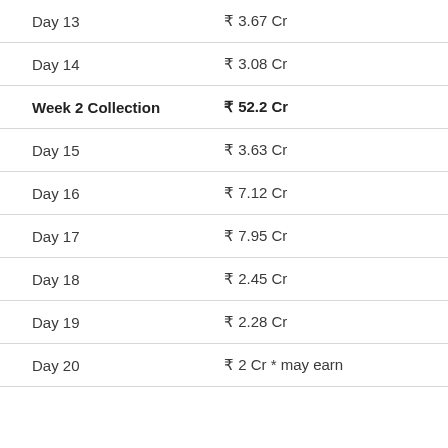| Day/Week | Collection |
| --- | --- |
| Day 13 | ₹ 3.67 Cr |
| Day 14 | ₹ 3.08 Cr |
| Week 2 Collection | ₹ 52.2 Cr |
| Day 15 | ₹ 3.63 Cr |
| Day 16 | ₹ 7.12 Cr |
| Day 17 | ₹ 7.95 Cr |
| Day 18 | ₹ 2.45 Cr |
| Day 19 | ₹ 2.28 Cr |
| Day 20 | ₹ 2 Cr * may earn |